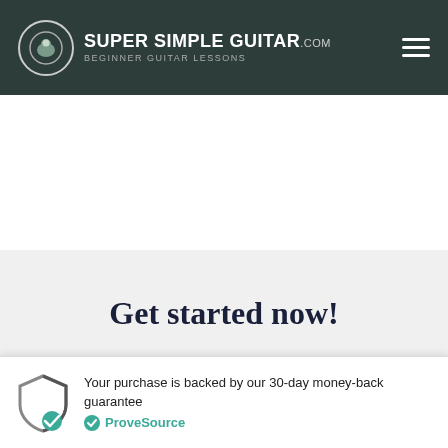SUPER SIMPLE GUITAR.com — BEGINNER GUITAR LESSONS
Get started now!
Monthly All-Access-Membership
Your purchase is backed by our 30-day money-back guarantee
ProveSource